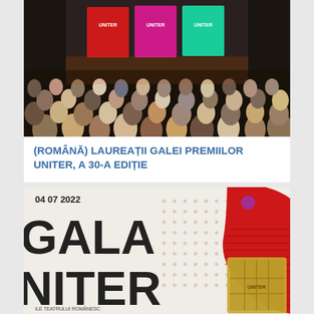[Figure (photo): Audience in a dark theater hall viewed from behind, with a colorful stage showing illuminated screens with 'UNITER' branding in red, magenta/pink, and teal/cyan colors. Many people seated in rows.]
(ROMÂNĂ) LAUREAȚII GALEI PREMIILOR UNITER, A 30-A EDIȚIE
[Figure (photo): Gala UNITER promotional poster/image dated 04 07 2022. Large bold black text 'GALA UNITER' partially visible. Red decorative shape and a gold/bronze trophy award visible on the right side. Small dot pattern in background. Text at bottom reads 'ILE TEATRULUI ROMÂNESC'.]